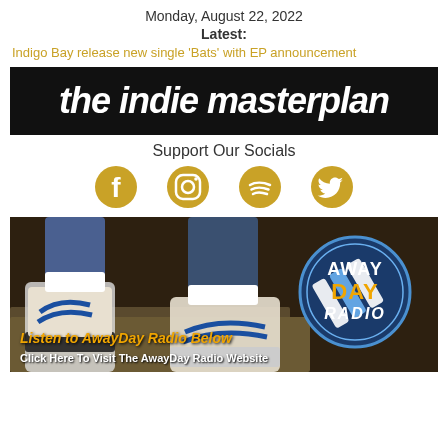Monday, August 22, 2022
Latest:
Indigo Bay release new single 'Bats' with EP announcement
[Figure (logo): The Indie Masterplan logo — white bold italic text on black background with border]
Support Our Socials
[Figure (illustration): Four social media icons in gold/amber: Facebook, Instagram, Spotify, Twitter]
[Figure (photo): AwayDay Radio advertisement banner showing sneakers/trainers with the AwayDay Radio logo. Text: 'Listen to AwayDay Radio Below' and 'Click Here To Visit The AwayDay Radio Website']